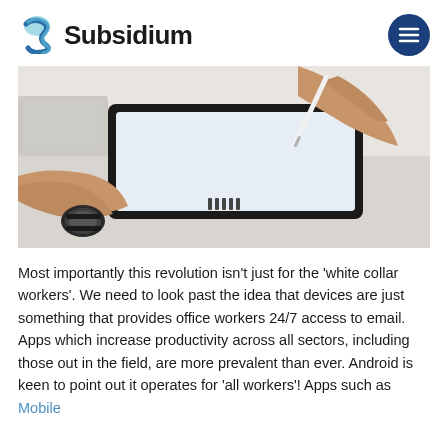Subsidium
[Figure (photo): Close-up of two hands over a tablet device on a white desk, one hand writing with a stylus pen, the other resting with a digital watch on the wrist.]
Most importantly this revolution isn’t just for the ‘white collar workers’. We need to look past the idea that devices are just something that provides office workers 24/7 access to email. Apps which increase productivity across all sectors, including those out in the field, are more prevalent than ever. Android is keen to point out it operates for ‘all workers’! Apps such as Mobile